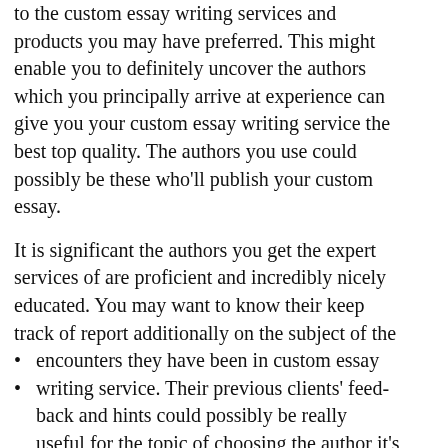to the custom essay writing services and products you may have preferred. This might enable you to definitely uncover the authors which you principally arrive at experience can give you your custom essay writing service the best top quality. The authors you use could possibly be these who'll publish your custom essay.
It is significant the authors you get the expert services of are proficient and incredibly nicely educated. You may want to know their keep track of report additionally on the subject of the encounters they have been in custom essay writing service. Their previous clients' feed-back and hints could possibly be really useful for the topic of choosing the author it's possible to assume to most certainly use. The authors you've gotten utilized must be qualified and carefully competently educated. They should be prepared to current their sights relating to your custom